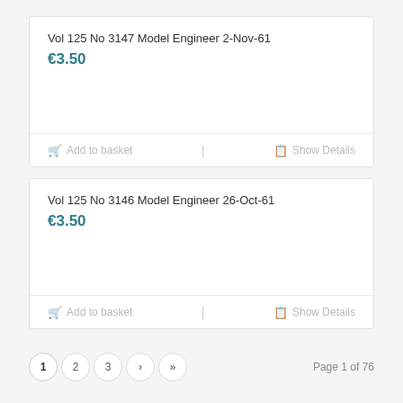Vol 125 No 3147 Model Engineer 2-Nov-61
€3.50
Add to basket
Show Details
Vol 125 No 3146 Model Engineer 26-Oct-61
€3.50
Add to basket
Show Details
Page 1 of 76